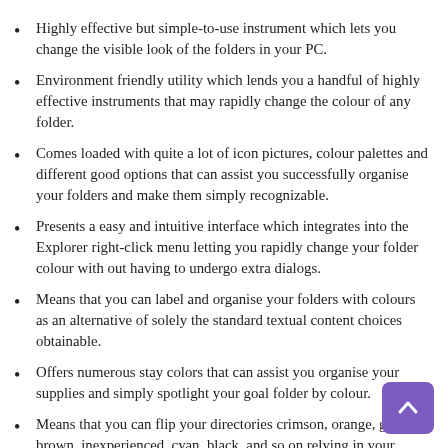Highly effective but simple-to-use instrument which lets you change the visible look of the folders in your PC.
Environment friendly utility which lends you a handful of highly effective instruments that may rapidly change the colour of any folder.
Comes loaded with quite a lot of icon pictures, colour palettes and different good options that can assist you successfully organise your folders and make them simply recognizable.
Presents a easy and intuitive interface which integrates into the Explorer right-click menu letting you rapidly change your folder colour with out having to undergo extra dialogs.
Means that you can label and organise your folders with colours as an alternative of solely the standard textual content choices obtainable.
Offers numerous stay colors that can assist you organise your supplies and simply spotlight your goal folder by colour.
Means that you can flip your directories crimson, orange, gold, brown, inexperienced, cyan, black, and so on relying in your